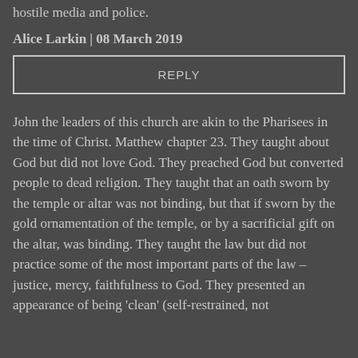hostile media and police.
Alice Larkin | 08 March 2019
REPLY
John the leaders of this church are akin to the Pharisees in the time of Christ. Matthew chapter 23. They taught about God but did not love God. They preached God but converted people to dead religion. They taught that an oath sworn by the temple or altar was not binding, but that if sworn by the gold ornamentation of the temple, or by a sacrificial gift on the altar, was binding. They taught the law but did not practice some of the most important parts of the law – justice, mercy, faithfulness to God. They presented an appearance of being 'clean' (self-restrained, not